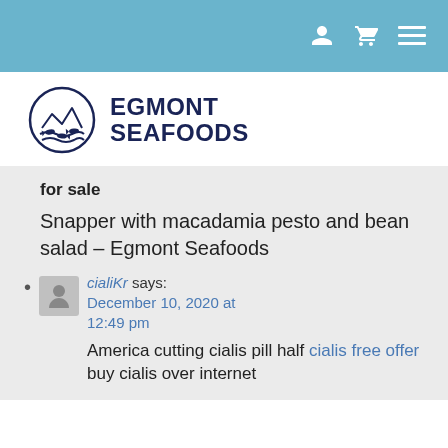[navigation icons: user, cart, menu]
[Figure (logo): Egmont Seafoods logo: circular emblem with fish and waves, beside bold text EGMONT SEAFOODS]
for sale
Snapper with macadamia pesto and bean salad – Egmont Seafoods
cialiKr says: December 10, 2020 at 12:49 pm
America cutting cialis pill half cialis free offer buy cialis over internet